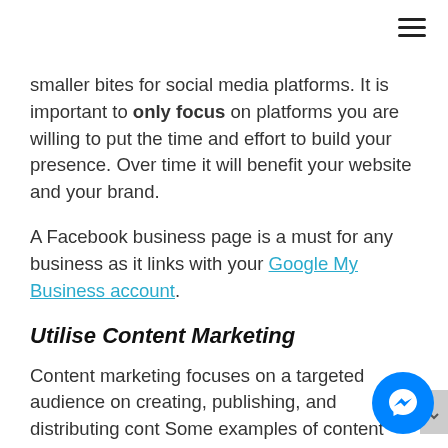hamburger menu icon
smaller bites for social media platforms. It is important to only focus on platforms you are willing to put the time and effort to build your presence. Over time it will benefit your website and your brand.
A Facebook business page is a must for any business as it links with your Google My Business account.
Utilise Content Marketing
Content marketing focuses on a targeted audience on creating, publishing, and distributing cont… Some examples of content marketing could… form of a newsletter, blog articles or personalised